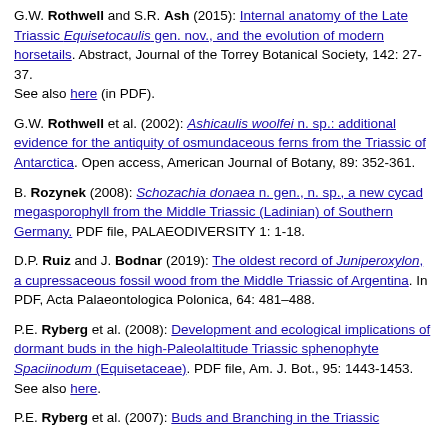G.W. Rothwell and S.R. Ash (2015): Internal anatomy of the Late Triassic Equisetocaulis gen. nov., and the evolution of modern horsetails. Abstract, Journal of the Torrey Botanical Society, 142: 27-37.
See also here (in PDF).
G.W. Rothwell et al. (2002): Ashicaulis woolfei n. sp.: additional evidence for the antiquity of osmundaceous ferns from the Triassic of Antarctica. Open access, American Journal of Botany, 89: 352-361.
B. Rozynek (2008): Schozachia donaea n. gen., n. sp., a new cycad megasporophyll from the Middle Triassic (Ladinian) of Southern Germany. PDF file, PALAEODIVERSITY 1: 1-18.
D.P. Ruiz and J. Bodnar (2019): The oldest record of Juniperoxylon, a cupressaceous fossil wood from the Middle Triassic of Argentina. In PDF, Acta Palaeontologica Polonica, 64: 481–488.
P.E. Ryberg et al. (2008): Development and ecological implications of dormant buds in the high-Paleolaltitude Triassic sphenophyte Spaciinodum (Equisetaceae). PDF file, Am. J. Bot., 95: 1443-1453. See also here.
P.E. Ryberg et al. (2007): Buds and Branching in the Triassic